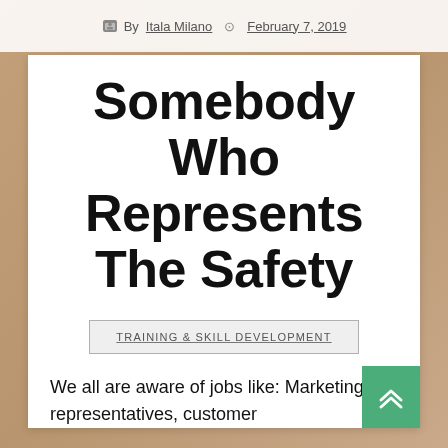By Itala Milano   February 7, 2019
Somebody Who Represents The Safety
TRAINING & SKILL DEVELOPMENT
We all are aware of jobs like: Marketing representatives, customer